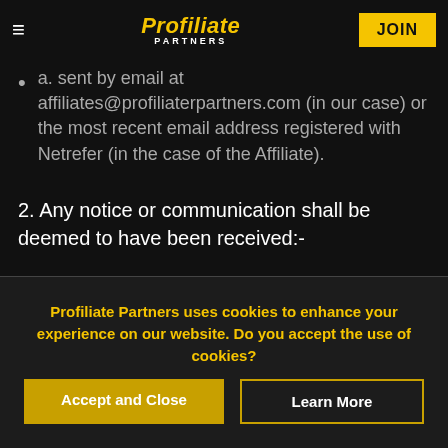Profiliate Partners — JOIN
a. sent by email at affiliates@profiliaterpartners.com (in our case) or the most recent email address registered with Netrefer (in the case of the Affiliate).
2. Any notice or communication shall be deemed to have been received:-
a. If sent by email at 10.00am on the next working day after transmission.
Profiliate Partners uses cookies to enhance your experience on our website. Do you accept the use of cookies?